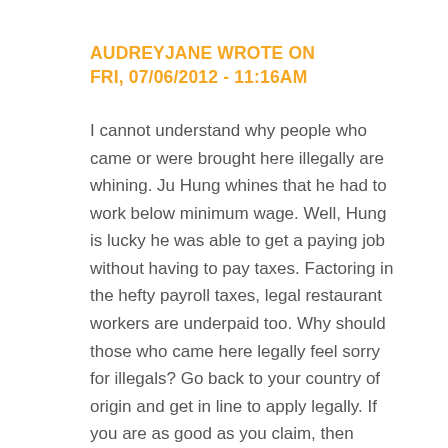AUDREYJANE WROTE ON FRI, 07/06/2012 - 11:16AM
I cannot understand why people who came or were brought here illegally are whining. Ju Hung whines that he had to work below minimum wage. Well, Hung is lucky he was able to get a paying job without having to pay taxes. Factoring in the hefty payroll taxes, legal restaurant workers are underpaid too. Why should those who came here legally feel sorry for illegals? Go back to your country of origin and get in line to apply legally. If you are as good as you claim, then